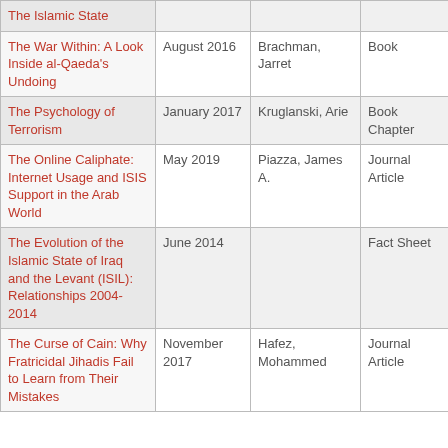| Title | Date | Author | Type |
| --- | --- | --- | --- |
| The Islamic State |  |  |  |
| The War Within: A Look Inside al-Qaeda's Undoing | August 2016 | Brachman, Jarret | Book |
| The Psychology of Terrorism | January 2017 | Kruglanski, Arie | Book Chapter |
| The Online Caliphate: Internet Usage and ISIS Support in the Arab World | May 2019 | Piazza, James A. | Journal Article |
| The Evolution of the Islamic State of Iraq and the Levant (ISIL): Relationships 2004-2014 | June 2014 |  | Fact Sheet |
| The Curse of Cain: Why Fratricidal Jihadis Fail to Learn from Their Mistakes | November 2017 | Hafez, Mohammed | Journal Article |